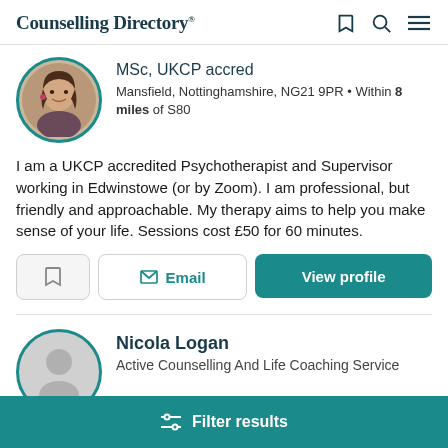Counselling Directory
MSc, UKCP accred
Mansfield, Nottinghamshire, NG21 9PR • Within 8 miles of S80
I am a UKCP accredited Psychotherapist and Supervisor working in Edwinstowe (or by Zoom). I am professional, but friendly and approachable. My therapy aims to help you make sense of your life. Sessions cost £50 for 60 minutes.
Email
View profile
Nicola Logan
Active Counselling And Life Coaching Service
Filter results